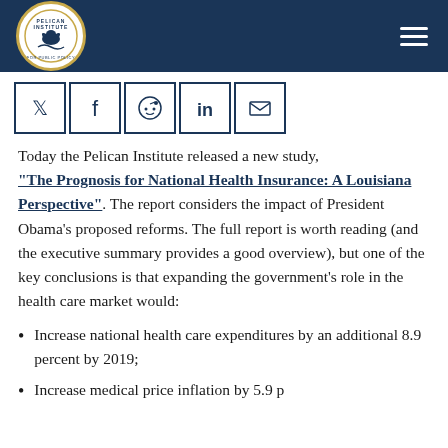Pelican Institute for Public Policy — Navigation header with logo and hamburger menu
[Figure (other): Social media share icons: Twitter, Facebook, Reddit, LinkedIn, Email]
Today the Pelican Institute released a new study, "The Prognosis for National Health Insurance: A Louisiana Perspective". The report considers the impact of President Obama's proposed reforms. The full report is worth reading (and the executive summary provides a good overview), but one of the key conclusions is that expanding the government's role in the health care market would:
Increase national health care expenditures by an additional 8.9 percent by 2019;
Increase medical price inflation by 5.9 percent...